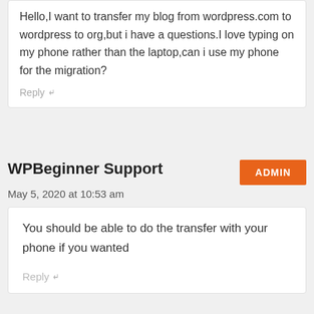Hello,I want to transfer my blog from wordpress.com to wordpress to org,but i have a questions.I love typing on my phone rather than the laptop,can i use my phone for the migration?
Reply ↵
WPBeginner Support
ADMIN
May 5, 2020 at 10:53 am
You should be able to do the transfer with your phone if you wanted
Reply ↵